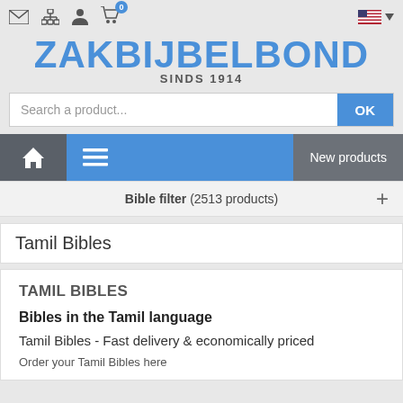ZAKBIJBELBOND SINDS 1914
Search a product...
Bible filter (2513 products)
Tamil Bibles
TAMIL BIBLES
Bibles in the Tamil language
Tamil Bibles - Fast delivery & economically priced
Order your Tamil Bibles here